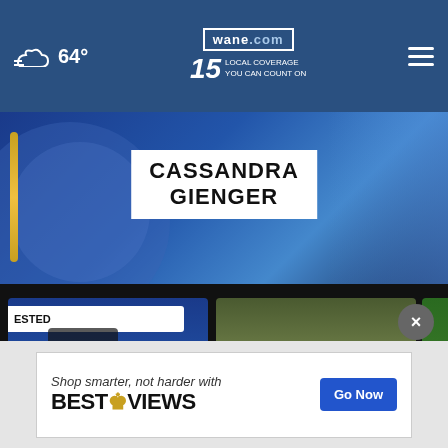64° wane.com 15 LOCAL COVERAGE YOU CAN COUNT ON
[Figure (screenshot): CASSANDRA GIENGER name banner over blue TV broadcast graphic background]
[Figure (screenshot): Video thumbnail: Cassandra Gienger arrest - mugshot on news background with ARRESTED banner, play button, 11 hours ago]
Cassandra Gienger arrest
11 hours ago
[Figure (screenshot): Video thumbnail: sewer upgrades - green/grey field with play button, 6 hours ago]
sewer upgrades
6 hours ago
[Figure (screenshot): Video thumbnail: lawn c... (partially cropped) - green lawn background]
More Videos ›
[Figure (screenshot): Advertisement: Shop smarter, not harder with BESTREVIEWS - Go Now button]